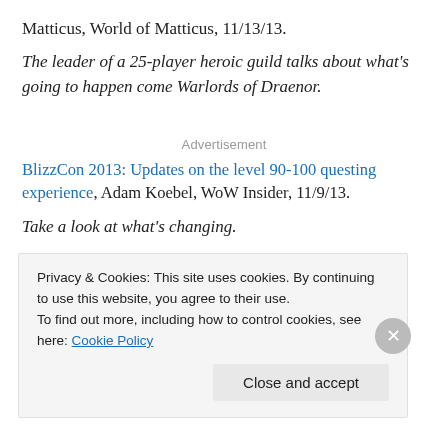Matticus, World of Matticus, 11/13/13.
The leader of a 25-player heroic guild talks about what's going to happen come Warlords of Draenor.
Advertisement
BlizzCon 2013: Updates on the level 90-100 questing experience, Adam Koebel, WoW Insider, 11/9/13.
Take a look at what's changing.
Privacy & Cookies: This site uses cookies. By continuing to use this website, you agree to their use.
To find out more, including how to control cookies, see here: Cookie Policy